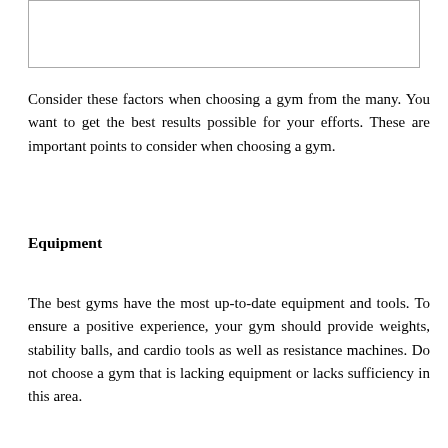[Figure (other): Blank image placeholder box at top of page]
Consider these factors when choosing a gym from the many. You want to get the best results possible for your efforts. These are important points to consider when choosing a gym.
Equipment
The best gyms have the most up-to-date equipment and tools. To ensure a positive experience, your gym should provide weights, stability balls, and cardio tools as well as resistance machines. Do not choose a gym that is lacking equipment or lacks sufficiency in this area.